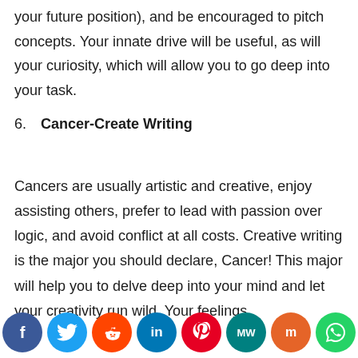your future position), and be encouraged to pitch concepts. Your innate drive will be useful, as will your curiosity, which will allow you to go deep into your task.
6. Cancer-Create Writing
Cancers are usually artistic and creative, enjoy assisting others, prefer to lead with passion over logic, and avoid conflict at all costs. Creative writing is the major you should declare, Cancer! This major will help you to delve deep into your mind and let your creativity run wild. Your feelings
[Figure (infographic): Social media sharing icons bar at bottom of page: Facebook (blue), Twitter (light blue), Reddit (orange-red), LinkedIn (dark blue), Pinterest (red), MW (teal), Mix (orange), WhatsApp (green), Share (orange)]